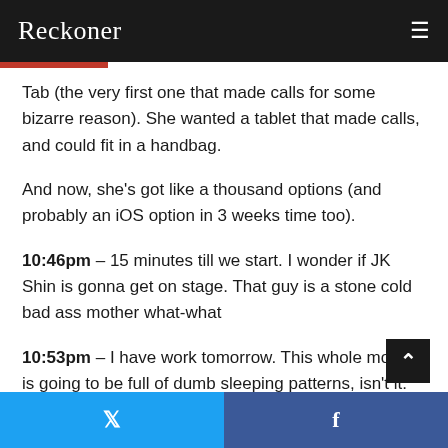Reckoner
Tab (the very first one that made calls for some bizarre reason). She wanted a tablet that made calls, and could fit in a handbag.
And now, she's got like a thousand options (and probably an iOS option in 3 weeks time too).
10:46pm – 15 minutes till we start. I wonder if JK Shin is gonna get on stage. That guy is a stone cold bad ass mother what-what
10:53pm – I have work tomorrow. This whole month is going to be full of dumb sleeping patterns, isn't it.
10:5...
Twitter share | Facebook share